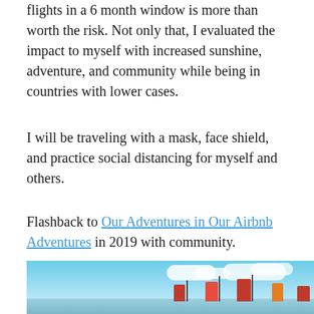flights in a 6 month window is more than worth the risk. Not only that, I evaluated the impact to myself with increased sunshine, adventure, and community while being in countries with lower cases.
I will be traveling with a mask, face shield, and practice social distancing for myself and others.
Flashback to Our Adventures in Our Airbnb Adventures in 2019 with community.
[Figure (photo): A photo showing a bright blue sky with white clouds and what appears to be a harbor or port scene with colorful boat or ship structures visible at the bottom.]